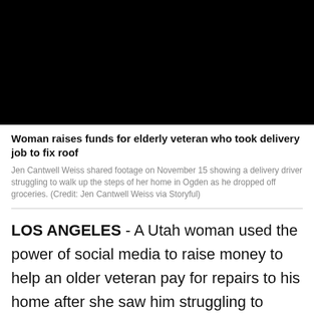[Figure (photo): Black video thumbnail area showing a delivery driver scene]
Woman raises funds for elderly veteran who took delivery job to fix roof
Jen Cantwell Weiss shared footage on November 15 showing a delivery driver struggling to walk up the steps of her home in Ogden as he dropped off groceries. (Credit: Jen Cantwell Weiss via Storyful)
LOS ANGELES - A Utah woman used the power of social media to raise money to help an older veteran pay for repairs to his home after she saw him struggling to deliver groceries to her home.